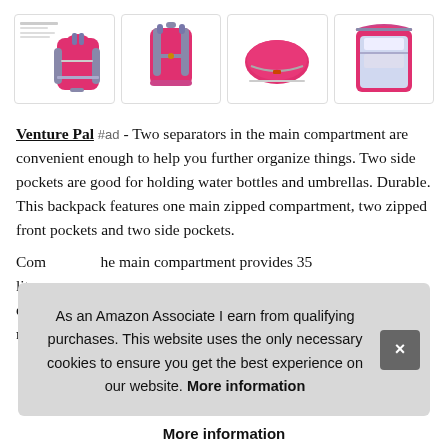[Figure (photo): Four product images of a pink/red Venture Pal backpack showing front with text overlay, back view, side/folded view, and open interior view]
Venture Pal #ad - Two separators in the main compartment are convenient enough to help you further organize things. Two side pockets are good for holding water bottles and umbrellas. Durable. This backpack features one main zipped compartment, two zipped front pockets and two side pockets.
Comments: The main compartment provides 35 liters of capacity. The backpack has extra room to make...
As an Amazon Associate I earn from qualifying purchases. This website uses the only necessary cookies to ensure you get the best experience on our website. More information
More information